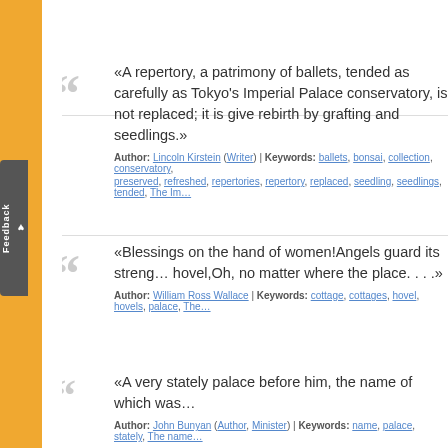«A repertory, a patrimony of ballets, tended as carefully as Tokyo's Imperial Palace conservatory, is not replaced; it is give rebirth by grafting and seedlings.»
Author: Lincoln Kirstein (Writer) | Keywords: ballets, bonsai, collection, conservatory, preserved, refreshed, repertories, repertory, replaced, seedling, seedlings, tended, The Im...
«Blessings on the hand of women!Angels guard its streng... hovel,Oh, no matter where the place. . . .»
Author: William Ross Wallace | Keywords: cottage, cottages, hovel, hovels, palace, The...
«A very stately palace before him, the name of which was...
Author: John Bunyan (Author, Minister) | Keywords: name, palace, stately, The name...